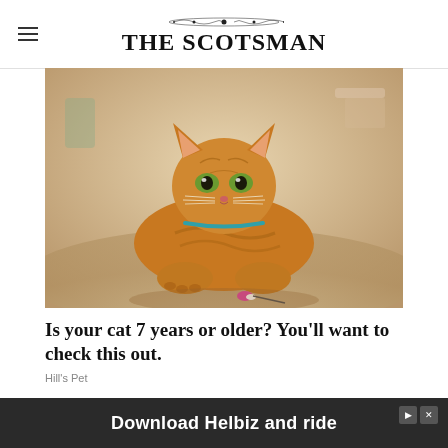THE SCOTSMAN
[Figure (photo): An orange tabby cat with a teal collar lying on a light-colored floor, looking directly at the camera, with a pink toy nearby. Background is softly blurred showing a room interior.]
Is your cat 7 years or older? You'll want to check this out.
Hill's Pet
[Figure (photo): Advertisement banner: Download Helbiz and ride, with a blurred bicycle image in background.]